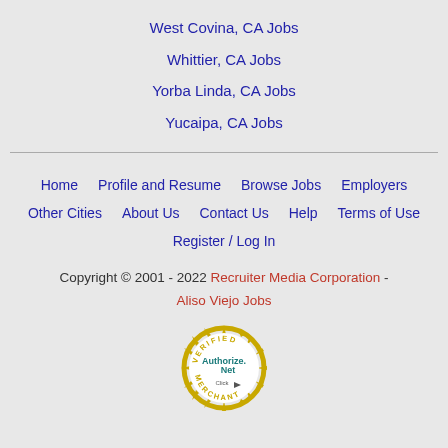West Covina, CA Jobs
Whittier, CA Jobs
Yorba Linda, CA Jobs
Yucaipa, CA Jobs
Home   Profile and Resume   Browse Jobs   Employers   Other Cities   About Us   Contact Us   Help   Terms of Use   Register / Log In
Copyright © 2001 - 2022 Recruiter Media Corporation - Aliso Viejo Jobs
[Figure (logo): Authorize.Net Verified Merchant seal/badge with gold sunburst border, teal Authorize.Net text, and Click arrow]